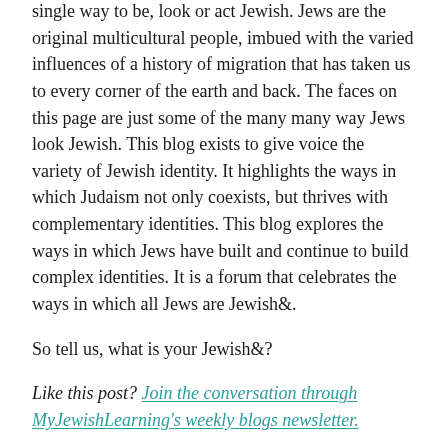single way to be, look or act Jewish. Jews are the original multicultural people, imbued with the varied influences of a history of migration that has taken us to every corner of the earth and back. The faces on this page are just some of the many many way Jews look Jewish. This blog exists to give voice the variety of Jewish identity. It highlights the ways in which Judaism not only coexists, but thrives with complementary identities. This blog explores the ways in which Jews have built and continue to build complex identities. It is a forum that celebrates the ways in which all Jews are Jewish&.
So tell us, what is your Jewish&?
Like this post? Join the conversation through MyJewishLearning's weekly blogs newsletter.